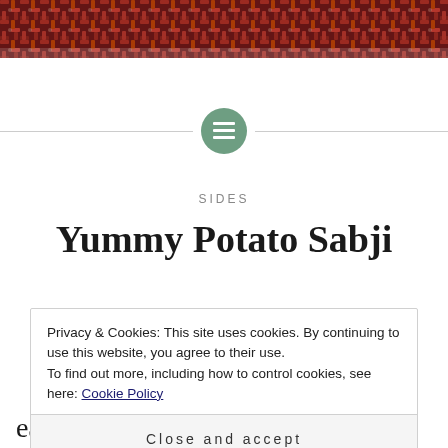[Figure (photo): Colorful woven textile or fabric pattern in red, orange, and dark brown tones at the top of the page]
[Figure (illustration): Horizontal divider with a green circle icon containing a menu/list symbol in the center]
SIDES
Yummy Potato Sabji
Privacy & Cookies: This site uses cookies. By continuing to use this website, you agree to their use.
To find out more, including how to control cookies, see here: Cookie Policy
Close and accept
easy I always keep pre cooked